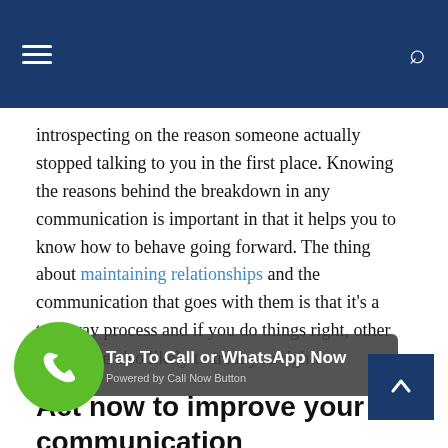introspecting on the reason someone actually stopped talking to you in the first place. Knowing the reasons behind the breakdown in any communication is important in that it helps you to know how to behave going forward. The thing about maintaining relationships and the communication that goes with them is that it's a two-way process and if you do things right, other people are also likely to treat you right.
Act now to improve your communication
There is no better time to improve your communication than today i would advise you to cast time spells as well. Get the right communication spell and see how your relationships improve. Remember that we are always waiting to hear from you regarding any questions you may have. If you have ever used communication spells, we'd like to hear all about it in the comments section.
[Figure (other): Green phone call button circle overlay in bottom left corner]
[Figure (other): Dark grey banner overlay: 'Tap To Call or WhatsApp Now' with 'Powered by Call Now Button' subtitle]
[Figure (other): Dark blue back-to-top button with upward chevron arrow in bottom right corner]